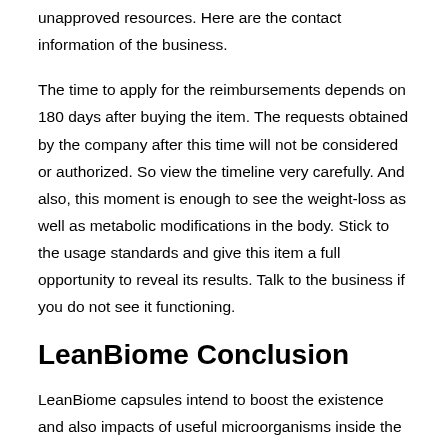unapproved resources. Here are the contact information of the business.
The time to apply for the reimbursements depends on 180 days after buying the item. The requests obtained by the company after this time will not be considered or authorized. So view the timeline very carefully. And also, this moment is enough to see the weight-loss as well as metabolic modifications in the body. Stick to the usage standards and give this item a full opportunity to reveal its results. Talk to the business if you do not see it functioning.
LeanBiome Conclusion
LeanBiome capsules intend to boost the existence and also impacts of useful microorganisms inside the body. They can improve food absorption, digestion, as well as application to create energy, without fat accumulation to make the body obese. This is a mix of probiotic as well as prebiotic stress, and every one of them